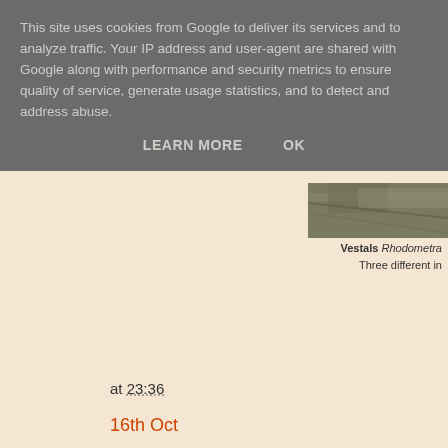This site uses cookies from Google to deliver its services and to analyze traffic. Your IP address and user-agent are shared with Google along with performance and security metrics to ensure quality of service, generate usage statistics, and to detect and address abuse.
LEARN MORE   OK
[Figure (photo): Partial view of a nature/wildlife photo in the top-right corner]
Vestals Rhodometra... Three different in...
at 23:36
16th Oct
A fine, warm morning with a few groun of note (one in the Lighthouse Garden with five Firecrests, five Goldcrests, 1 a steady stream of Siskins and Goldfi a Grey Wagtail, two Rock Pipits, two